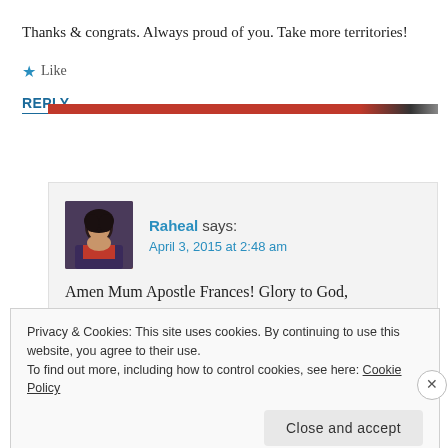Thanks & congrats. Always proud of you. Take more territories!
★ Like
REPLY
[Figure (photo): Profile photo of Raheal, a woman with dark curly hair wearing a red/orange scarf and dark jacket]
Raheal says:
April 3, 2015 at 2:48 am
Amen Mum Apostle Frances! Glory to God,
Privacy & Cookies: This site uses cookies. By continuing to use this website, you agree to their use.
To find out more, including how to control cookies, see here: Cookie Policy
Close and accept